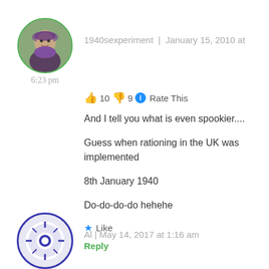[Figure (photo): Circular avatar photo of a woman with a floral headpiece, bordered in green]
6:23 pm
1940sexperiment  |  January 15, 2010 at
👍 10 👎 9 🔵 Rate This
And I tell you what is even spookier....
Guess when rationing in the UK was implemented
8th January 1940
Do-do-do-do hehehe
★ Like
Reply
[Figure (illustration): Circular avatar with a blue compass/globe icon border]
Al | May 14, 2017 at 1:16 am